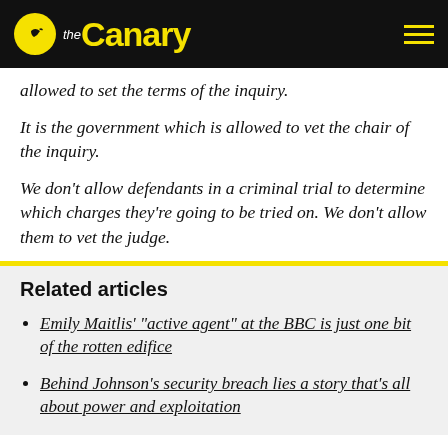theCanary
allowed to set the terms of the inquiry.
It is the government which is allowed to vet the chair of the inquiry.
We don’t allow defendants in a criminal trial to determine which charges they’re going to be tried on. We don’t allow them to vet the judge.
Related articles
Emily Maitlis’ “active agent” at the BBC is just one bit of the rotten edifice
Behind Johnson’s security breach lies a story that’s all about power and exploitation